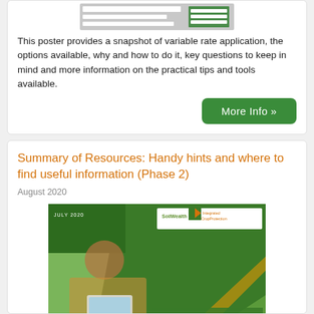[Figure (screenshot): Thumbnail image of a poster about variable rate application at the top of the first card]
This poster provides a snapshot of variable rate application, the options available, why and how to do it, key questions to keep in mind and more information on the practical tips and tools available.
More Info »
Summary of Resources: Handy hints and where to find useful information (Phase 2)
August 2020
[Figure (photo): Cover image of the 'Summary of Resources: Phase 2' document, showing a person in a plaid shirt using a tablet in a field of green crops. The document is branded SoilWealth and Integrated CropProtection and dated July 2020.]